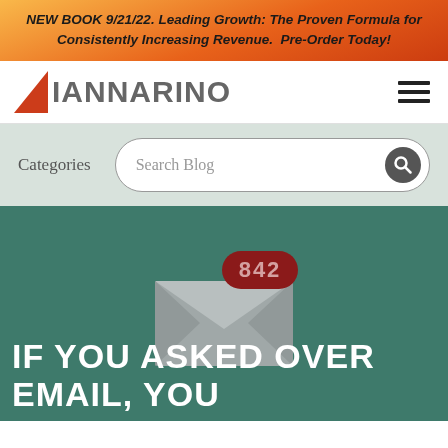NEW BOOK 9/21/22. Leading Growth: The Proven Formula for Consistently Increasing Revenue. Pre-Order Today!
[Figure (logo): Iannarino logo with orange triangle and gray text]
Categories
Search Blog
[Figure (illustration): Gray envelope with red badge showing 842 unread messages on dark teal background]
IF YOU ASKED OVER EMAIL, YOU